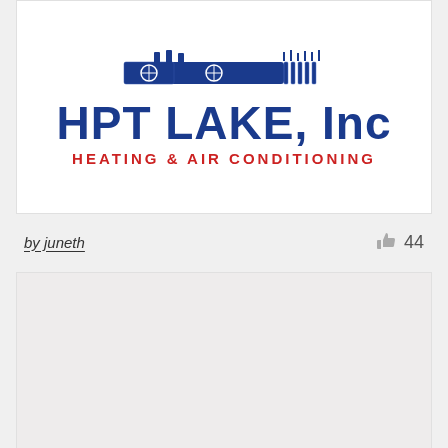[Figure (logo): HPT LAKE, Inc logo with HVAC equipment icon above text. 'HPT LAKE, Inc' in large dark navy bold text, 'HEATING & AIR CONDITIONING' in red bold smaller text below.]
by juneth
44